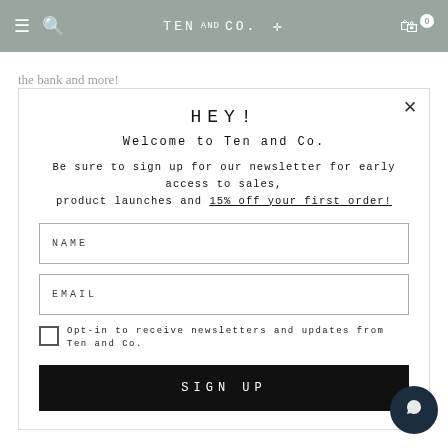TEN and CO. [menu] [search] [bag 0]
the bank and more!
Ultimately, it's about changing your mindset to one of minimalism
HEY!
Welcome to Ten and Co.
Be sure to sign up for our newsletter for early access to sales, product launches and 15% off your first order!
NAME
EMAIL
Opt-in to receive newsletters and updates from Ten and Co.
SIGN UP